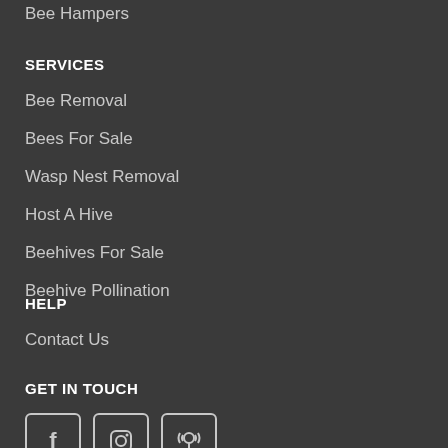Bee Hampers
SERVICES
Bee Removal
Bees For Sale
Wasp Nest Removal
Host A Hive
Beehives For Sale
Beehive Pollination
HELP
Contact Us
GET IN TOUCH
[Figure (illustration): Three social media icon boxes: Facebook, Instagram, Podcast]